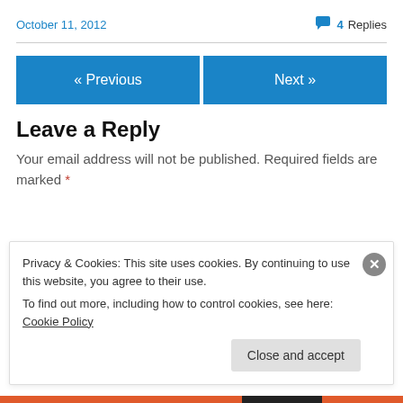October 11, 2012   💬 4 Replies
« Previous   Next »
Leave a Reply
Your email address will not be published. Required fields are marked *
Privacy & Cookies: This site uses cookies. By continuing to use this website, you agree to their use.
To find out more, including how to control cookies, see here: Cookie Policy
Close and accept